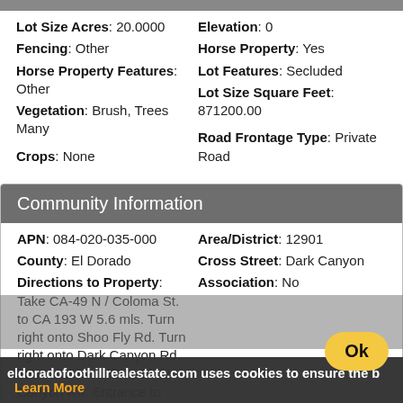Lot Size Acres: 20.0000 | Elevation: 0
Fencing: Other | Horse Property: Yes
Horse Property Features: Other | Lot Features: Secluded
Vegetation: Brush, Trees Many | Lot Size Square Feet: 871200.00
Crops: None | Road Frontage Type: Private Road
Community Information
APN: 084-020-035-000 | Area/District: 12901
County: El Dorado | Cross Street: Dark Canyon
Directions to Property: Take CA-49 N / Coloma St. to CA 193 W 5.6 mls. Turn right onto Shoo Fly Rd. Turn right onto Dark Canyon Rd. Take a left at split to Eight Canyon Rd. Entrance to property is towards end of Eight Canyon Rd. | Association: No
eldoradofoothillrealestate.com uses cookies to ensure the b
Learn More